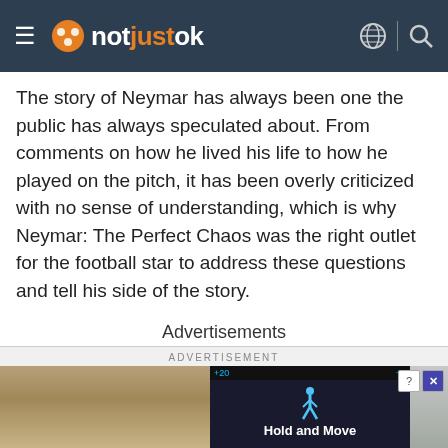notjustok
The story of Neymar has always been one the public has always speculated about. From comments on how he lived his life to how he played on the pitch, it has been overly criticized with no sense of understanding, which is why Neymar: The Perfect Chaos was the right outlet for the football star to address these questions and tell his side of the story.
Advertisements
[Figure (screenshot): Advertisement banner at bottom of page with text 'ADVERTISEMENT' and partial image showing trees and a 'Hold and Move' ad overlay with close button]